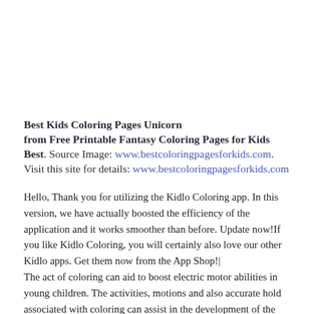Best Kids Coloring Pages Unicorn
from Free Printable Fantasy Coloring Pages for Kids Best. Source Image: www.bestcoloringpagesforkids.com. Visit this site for details: www.bestcoloringpagesforkids.com
Hello, Thank you for utilizing the Kidlo Coloring app. In this version, we have actually boosted the efficiency of the application and it works smoother than before. Update now!If you like Kidlo Coloring, you will certainly also love our other Kidlo apps. Get them now from the App Shop!|
The act of coloring can aid to boost electric motor abilities in young children. The activities, motions and also accurate hold associated with coloring can assist in the development of the muscular tissues of the fingers, hands as well as wrist. Fine motor ability growth can help kids compose more skillfully in addition to control small objects. They can